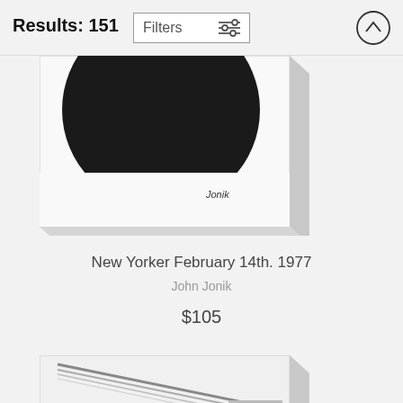Results: 151
Filters
[Figure (photo): Partial view of a New Yorker magazine cover illustration showing a dark circular shape (likely a record or moon) with 'Jonik' signature, displayed as a canvas print with depth shadow on right side]
New Yorker February 14th. 1977
John Jonik
$105
[Figure (photo): New Yorker cartoon illustration showing a porch scene with a woman at a doorway and a person sitting on a porch with a dog, sailboat visible in background, displayed as a canvas print]